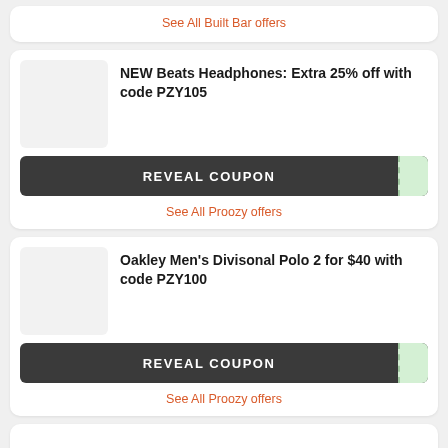See All Built Bar offers
NEW Beats Headphones: Extra 25% off with code PZY105
[Figure (other): Reveal Coupon button with dark background and dashed green tab on the right]
See All Proozy offers
Oakley Men's Divisonal Polo 2 for $40 with code PZY100
[Figure (other): Reveal Coupon button with dark background and dashed green tab on the right]
See All Proozy offers